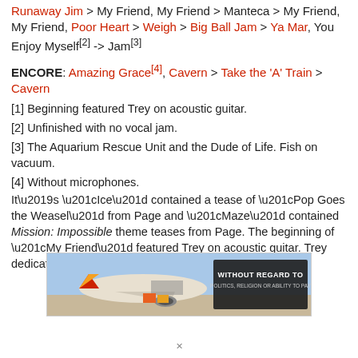SET 2: Runaway Jim > My Friend, My Friend > Manteca > My Friend, My Friend, Poor Heart > Weigh > Big Ball Jam > Ya Mar, You Enjoy Myself[2] -> Jam[3]
ENCORE: Amazing Grace[4], Cavern > Take the 'A' Train > Cavern
[1] Beginning featured Trey on acoustic guitar.
[2] Unfinished with no vocal jam.
[3] The Aquarium Rescue Unit and the Dude of Life. Fish on vacuum.
[4] Without microphones.
It’s “Ice” contained a tease of “Pop Goes the Weasel” from Page and “Maze” contained Mission: Impossible theme teases from Page. The beginning of “My Friend” featured Trey on acoustic guitar. Trey dedicated “Ya Mar” to Sue on...
[Figure (photo): Advertisement banner showing an airplane being loaded with cargo, with text 'WITHOUT REGARD TO POLITICS, RELIGION OR ABILITY TO PAY']